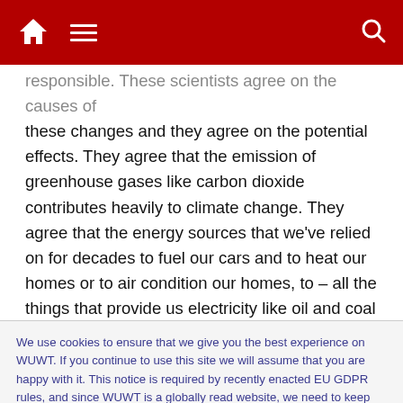[Navigation bar with home icon, menu icon, search icon]
responsible. These scientists agree on the causes of these changes and they agree on the potential effects. They agree that the emission of greenhouse gases like carbon dioxide contributes heavily to climate change. They agree that the energy sources that we've relied on for decades to fuel our cars and to heat our homes or to air condition our homes, to – all the things that provide us electricity like oil and coal – that these are largely responsible for sending those greenhouse gases up into the atmosphere. And the scientists agree that emissions
We use cookies to ensure that we give you the best experience on WUWT. If you continue to use this site we will assume that you are happy with it. This notice is required by recently enacted EU GDPR rules, and since WUWT is a globally read website, we need to keep the bureaucrats off our case! Cookie Policy
it will change – and it will change dramatically for the